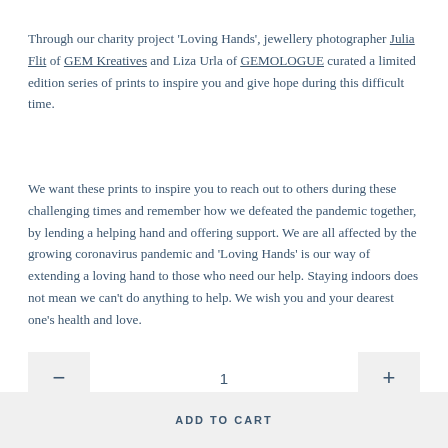Through our charity project 'Loving Hands', jewellery photographer Julia Flit of GEM Kreatives and Liza Urla of GEMOLOGUE curated a limited edition series of prints to inspire you and give hope during this difficult time.
We want these prints to inspire you to reach out to others during these challenging times and remember how we defeated the pandemic together, by lending a helping hand and offering support. We are all affected by the growing coronavirus pandemic and 'Loving Hands' is our way of extending a loving hand to those who need our help. Staying indoors does not mean we can't do anything to help. We wish you and your dearest one's health and love.